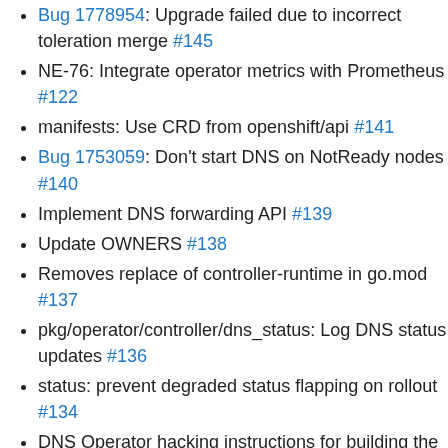Bug 1778954: Upgrade failed due to incorrect toleration merge #145
NE-76: Integrate operator metrics with Prometheus #122
manifests: Use CRD from openshift/api #141
Bug 1753059: Don't start DNS on NotReady nodes #140
Implement DNS forwarding API #139
Update OWNERS #138
Removes replace of controller-runtime in go.mod #137
pkg/operator/controller/dns_status: Log DNS status updates #136
status: prevent degraded status flapping on rollout #134
DNS Operator hacking instructions for building the developed operator remotely on the cluster #133
syncOperatorStatus: Simplify relatedObjects #132
Update to Kube 1.16 #131